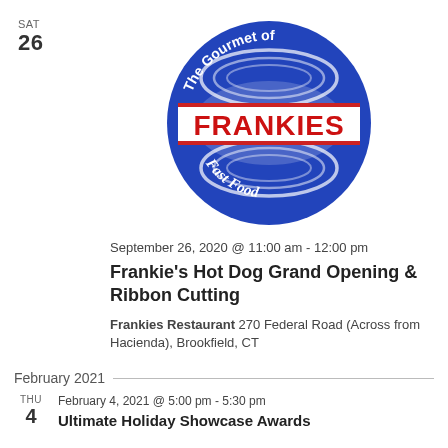SAT
26
[Figure (logo): Frankies Fast Food logo — circular blue badge with 'The Gourmet of' arching at top, 'FRANKIES' in large red letters on a white banner in the center, and 'Fast Food' at the bottom in white script on blue]
September 26, 2020 @ 11:00 am - 12:00 pm
Frankie's Hot Dog Grand Opening & Ribbon Cutting
Frankies Restaurant 270 Federal Road (Across from Hacienda), Brookfield, CT
February 2021
THU
4
February 4, 2021 @ 5:00 pm - 5:30 pm
Ultimate Holiday Showcase Awards